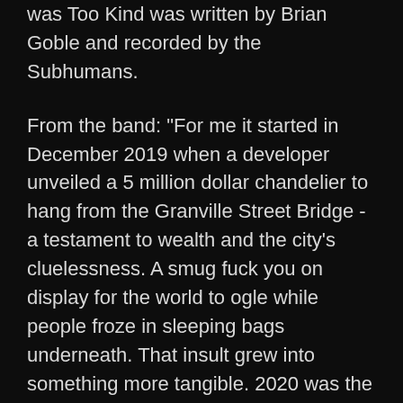was Too Kind was written by Brian Goble and recorded by the Subhumans.
From the band: "For me it started in December 2019 when a developer unveiled a 5 million dollar chandelier to hang from the Granville Street Bridge - a testament to wealth and the city's cluelessness. A smug fuck you on display for the world to ogle while people froze in sleeping bags underneath. That insult grew into something more tangible. 2020 was the year that an ever-worsening overdose epidemic was too boring for most news cycles. We watched citizens of North America get murdered in real time by pigs. White supremacists marched in the streets, encouraged by their revered grifters. Major news corporations backed both on primetime while demonizing people for just wanting to stay alive. We sat back, depressed and tuned into the images. We wished that we